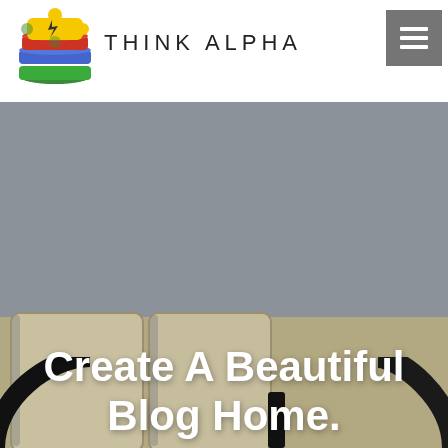[Figure (logo): Think Alpha logo: stacked colored layers (yellow puzzle piece on red/blue/green layers) with the text THINK ALPHA beside it and a grey hamburger menu button on the right]
[Figure (photo): Hero image showing a grey upper portion transitioning to a tan/beige desk surface with notebooks or tablets and dark cables, overlaid with white bold text reading 'Create A Beautiful Blog Home.']
Create A Beautiful Blog Home.